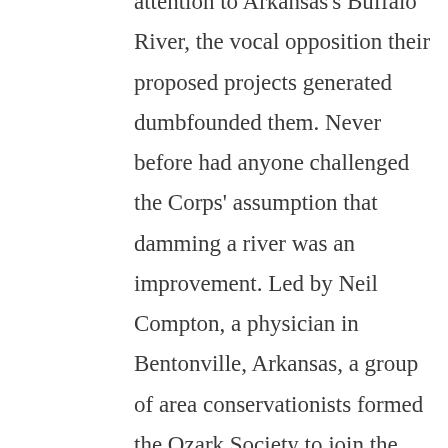attention to Arkansas's Buffalo River, the vocal opposition their proposed projects generated dumbfounded them. Never before had anyone challenged the Corps' assumption that damming a river was an improvement. Led by Neil Compton, a physician in Bentonville, Arkansas, a group of area conservationists formed the Ozark Society to join the battle for the Buffalo. This book is the account of this decade-long struggle that drew